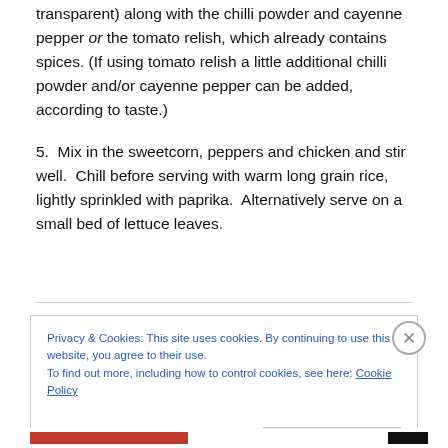transparent) along with the chilli powder and cayenne pepper or the tomato relish, which already contains spices. (If using tomato relish a little additional chilli powder and/or cayenne pepper can be added, according to taste.)
5.  Mix in the sweetcorn, peppers and chicken and stir well.  Chill before serving with warm long grain rice, lightly sprinkled with paprika.  Alternatively serve on a small bed of lettuce leaves.
Privacy & Cookies: This site uses cookies. By continuing to use this website, you agree to their use.
To find out more, including how to control cookies, see here: Cookie Policy
Close and accept